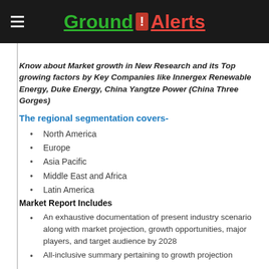Ground ! Alerts
Know about Market growth in New Research and its Top growing factors by Key Companies like Innergex Renewable Energy, Duke Energy, China Yangtze Power (China Three Gorges)
The regional segmentation covers-
North America
Europe
Asia Pacific
Middle East and Africa
Latin America
Market Report Includes
An exhaustive documentation of present industry scenario along with market projection, growth opportunities, major players, and target audience by 2028
All-inclusive summary pertaining to growth projection